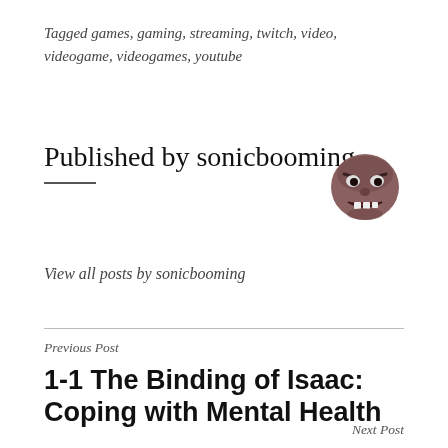Tagged games, gaming, streaming, twitch, video, videogame, videogames, youtube
Published by sonicbooming
[Figure (illustration): Cartoon avatar of an angry face with teeth showing, brownish-purple color, used as a blog profile image]
View all posts by sonicbooming
Previous Post
1-1 The Binding of Isaac: Coping with Mental Health
Next Post